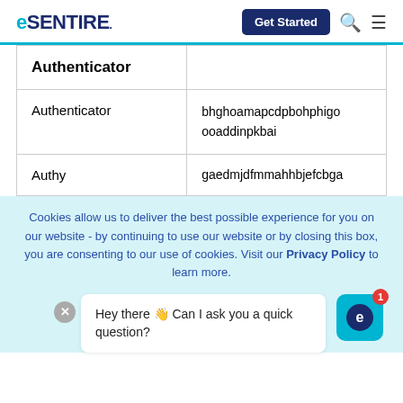eSENTIRE — Get Started
| Authenticator |  |
| --- | --- |
| Authenticator | bhghoamapcdpbohphigoooaddinpkbai |
| Authy | gaedmjdfmmahhbjefcbga |
Cookies allow us to deliver the best possible experience for you on our website - by continuing to use our website or by closing this box, you are consenting to our use of cookies. Visit our Privacy Policy to learn more.
Hey there 👋 Can I ask you a quick question?